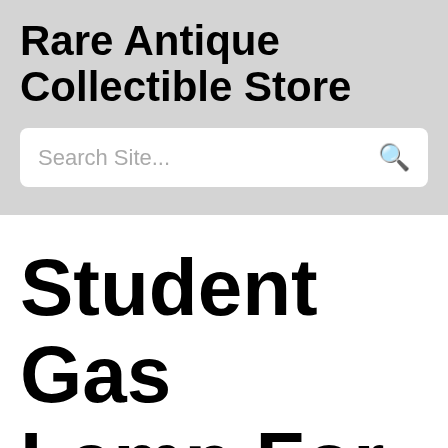Rare Antique Collectible Store
Search Site...
Student Gas Lamp For